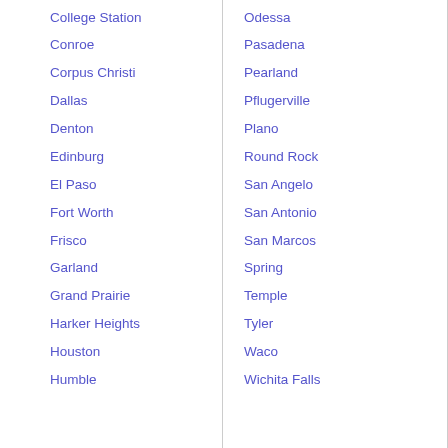College Station
Odessa
Conroe
Pasadena
Corpus Christi
Pearland
Dallas
Pflugerville
Denton
Plano
Edinburg
Round Rock
El Paso
San Angelo
Fort Worth
San Antonio
Frisco
San Marcos
Garland
Spring
Grand Prairie
Temple
Harker Heights
Tyler
Houston
Waco
Humble
Wichita Falls